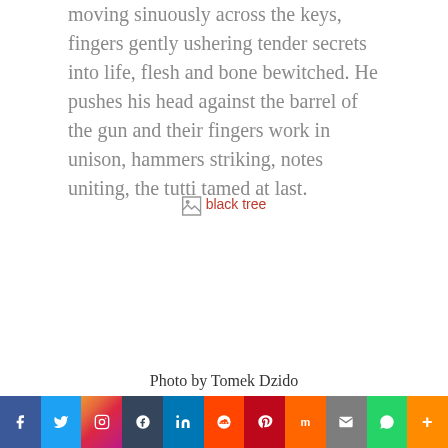moving sinuously across the keys, fingers gently ushering tender secrets into life, flesh and bone bewitched. He pushes his head against the barrel of the gun and their fingers work in unison, hammers striking, notes uniting, the tutti tamed at last.
[Figure (photo): A broken image placeholder with alt text 'black tree' and a link icon, indicating a missing image of a black tree]
Photo by Tomek Dzido
Social share bar with: Facebook, Twitter, Instagram, Tumblr, LinkedIn, Reddit, Pinterest, Mix, Mail, WhatsApp, More